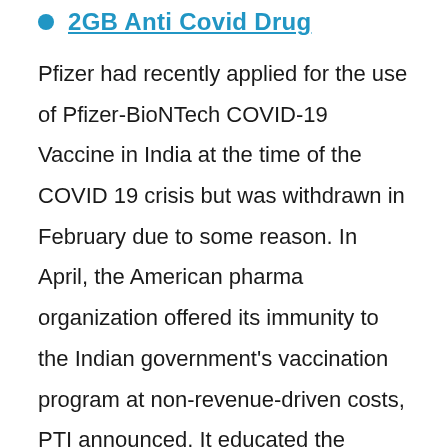2GB Anti Covid Drug
Pfizer had recently applied for the use of Pfizer-BioNTech COVID-19 Vaccine in India at the time of the COVID 19 crisis but was withdrawn in February due to some reason. In April, the American pharma organization offered its immunity to the Indian government's vaccination program at non-revenue-driven costs, PTI announced. It educated the government